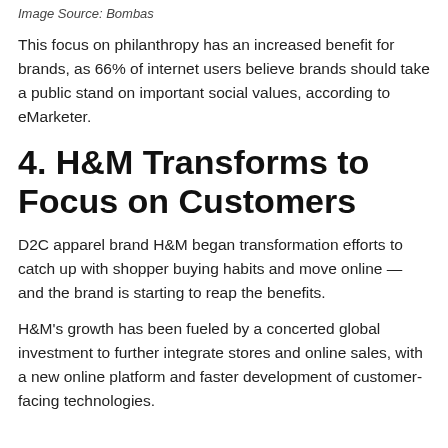Image Source: Bombas
This focus on philanthropy has an increased benefit for brands, as 66% of internet users believe brands should take a public stand on important social values, according to eMarketer.
4. H&M Transforms to Focus on Customers
D2C apparel brand H&M began transformation efforts to catch up with shopper buying habits and move online — and the brand is starting to reap the benefits.
H&M's growth has been fueled by a concerted global investment to further integrate stores and online sales, with a new online platform and faster development of customer-facing technologies.